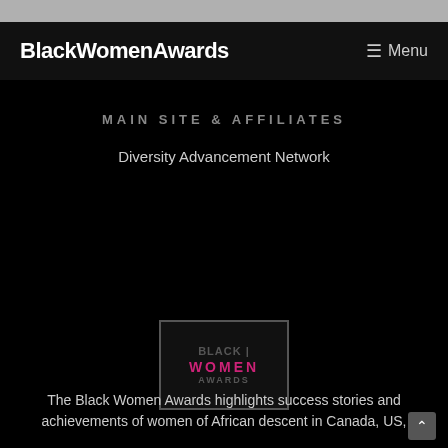BlackWomenAwards   ☰ Menu
MAIN SITE & AFFILIATES
Diversity Advancement Network
[Figure (logo): Black Women Awards logo with 'WOMEN' in pink/magenta and surrounding text in dark gray, bordered box]
The Black Women Awards highlights success stories and achievements of women of African descent in Canada, US,